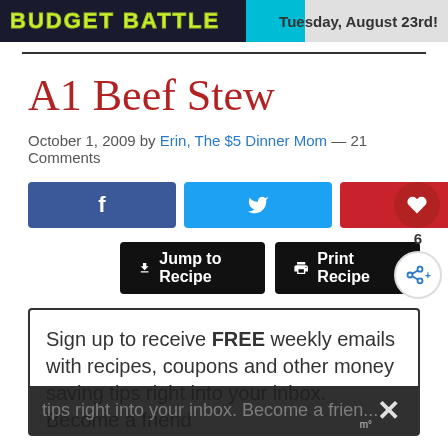[Figure (illustration): Budget Battle banner with green text and Tuesday August 23rd date]
A1 Beef Stew
October 1, 2009 by Erin, The $5 Dinner Mom — 21 Comments
[Figure (infographic): Social share buttons: Facebook, Twitter, Pinterest with 5 saves, share icon, heart icon, count 6, share plus button]
[Figure (infographic): Jump to Recipe and Print Recipe action buttons]
Sign up to receive FREE weekly emails with recipes, coupons and other money saving tips right into your inbox. Become a friend of $5 Dinners...